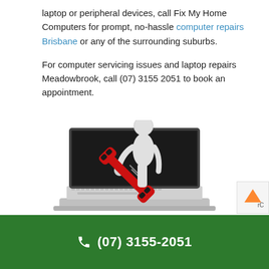laptop or peripheral devices, call Fix My Home Computers for prompt, no-hassle computer repairs Brisbane or any of the surrounding suburbs.
For computer servicing issues and laptop repairs Meadowbrook, call (07) 3155 2051 to book an appointment.
[Figure (illustration): A 3D cartoon figure (white/grey humanoid) emerging from a laptop screen holding a large red wrench, representing computer repair services.]
(07) 3155-2051